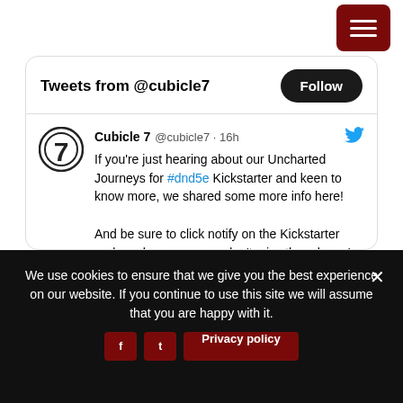[Figure (other): Dark red hamburger menu button with three white horizontal lines]
Tweets from @cubicle7
Cubicle 7 @cubicle7 · 16h — If you're just hearing about our Uncharted Journeys for #dnd5e Kickstarter and keen to know more, we shared some more info here!

And be sure to click notify on the Kickstarter prelaunch page so you don't miss the release!

#dnd #ttrpg
We use cookies to ensure that we give you the best experience on our website. If you continue to use this site we will assume that you are happy with it.